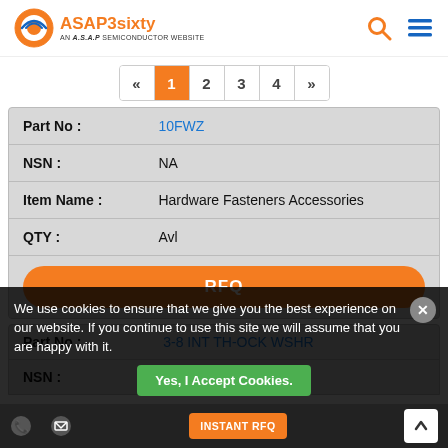ASAP3sixty — AN A.S.A.P SEMICONDUCTOR WEBSITE
| Part No: | 10FWZ |
| NSN: | NA |
| Item Name: | Hardware Fasteners Accessories |
| QTY: | Avl |
RFQ
Part No: 3-8 INT TH-OCK WSHR
NSN: NA
We use cookies to ensure that we give you the best experience on our website. If you continue to use this site we will assume that you are happy with it.
Yes, I Accept Cookies.
INSTANT RFQ